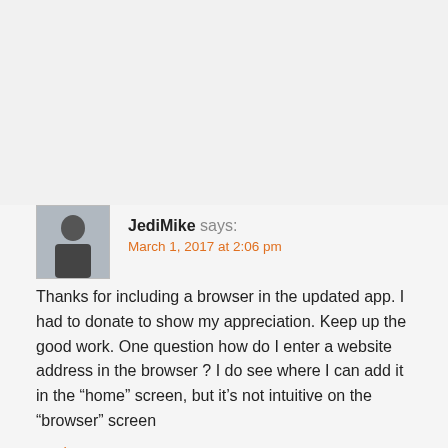[Figure (photo): User avatar thumbnail for JediMike showing a person from behind]
JediMike says:
March 1, 2017 at 2:06 pm
Thanks for including a browser in the updated app. I had to donate to show my appreciation. Keep up the good work. One question how do I enter a website address in the browser ? I do see where I can add it in the “home” screen, but it’s not intuitive on the “browser” screen
Reply
[Figure (photo): User avatar thumbnail for JediMike showing a person from behind]
JediMike says:
March 1, 2017 at 3:22 pm
Never mind, figured it out, just hit the center round button